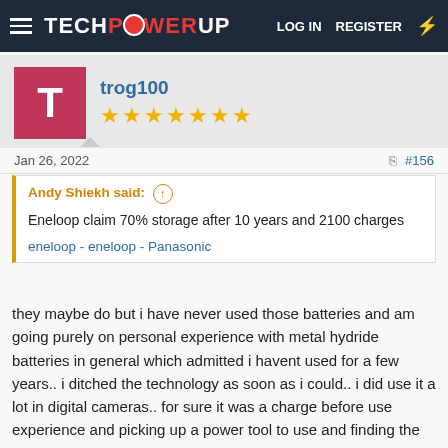TECHPOWERUP  LOG IN  REGISTER
trog100
★★★★★★★
Jan 26, 2022  #156
Andy Shiekh said: ↑
Eneloop claim 70% storage after 10 years and 2100 charges
eneloop - eneloop - Panasonic
they maybe do but i have never used those batteries and am going purely on personal experience with metal hydride batteries in general which admitted i havent used for a few years.. i ditched the technology as soon as i could.. i did use it a lot in digital cameras.. for sure it was a charge before use experience and picking up a power tool to use and finding the batteries flat was also pretty annoying and quite common..